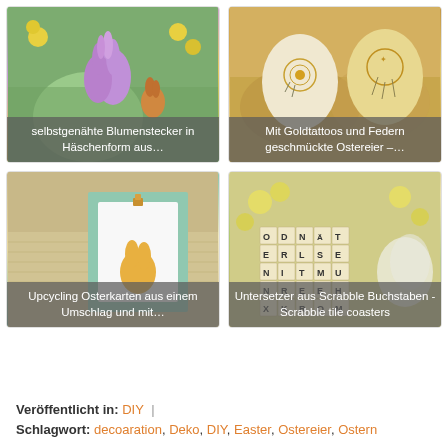[Figure (photo): Photo of self-sewn bunny-shaped flower stickers with yellow flowers in background]
selbstgenähte Blumenstecker in Häschenform aus…
[Figure (photo): Photo of Easter eggs decorated with gold tattoos and feathers]
Mit Goldtattoos und Federn geschmückte Ostereier –…
[Figure (photo): Photo of upcycling Easter cards made from an envelope with bunny shape]
Upcycling Osterkarten aus einem Umschlag und mit…
[Figure (photo): Photo of coasters made from Scrabble letters / Scrabble tile coasters]
Untersetzer aus Scrabble Buchstaben - Scrabble tile coasters
Veröffentlicht in: DIY  |
Schlagwort: decoaration, Deko, DIY, Easter, Ostereier, Ostern